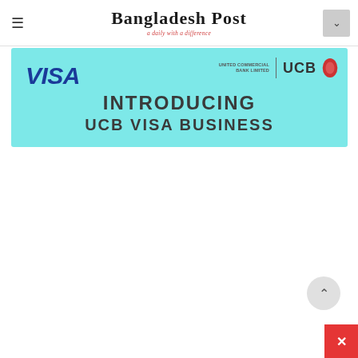Bangladesh Post — a daily with a difference
[Figure (illustration): Advertisement banner for UCB Visa Business card. Light teal/cyan background. Left side shows VISA logo in dark blue italic bold text. Top right shows 'UNITED COMMERCIAL BANK LIMITED | UCB' with a red pill/diamond logo shape. Center-bottom text reads 'INTRODUCING UCB VISA BUSINESS' in large dark gray bold letters.]